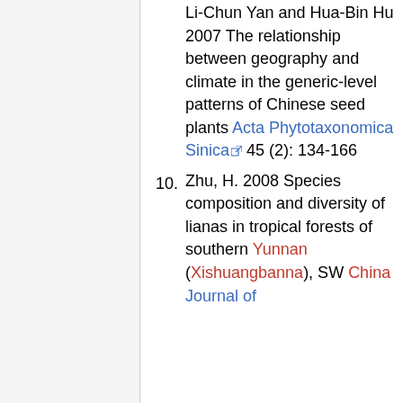Li-Chun Yan and Hua-Bin Hu 2007 The relationship between geography and climate in the generic-level patterns of Chinese seed plants Acta Phytotaxonomica Sinica 45 (2): 134-166
10. Zhu, H. 2008 Species composition and diversity of lianas in tropical forests of southern Yunnan (Xishuangbanna), SW China Journal of